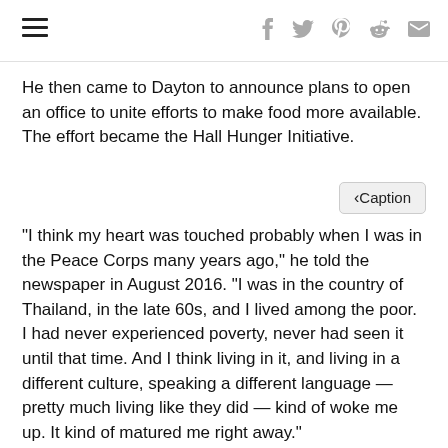hamburger menu + social icons (f, twitter, pinterest, reddit, mail)
He then came to Dayton to announce plans to open an office to unite efforts to make food more available. The effort became the Hall Hunger Initiative.
< Caption
“I think my heart was touched probably when I was in the Peace Corps many years ago,” he told the newspaper in August 2016. “I was in the country of Thailand, in the late 60s, and I lived among the poor. I had never experienced poverty, never had seen it until that time. And I think living in it, and living in a different culture, speaking a different language — pretty much living like they did — kind of woke me up. It kind of matured me right away.”